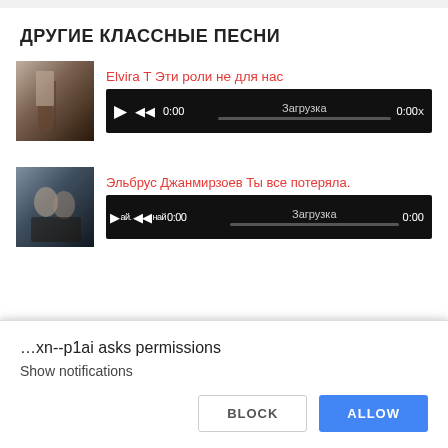ДРУГИЕ КЛАССНЫЕ ПЕСНИ
[Figure (screenshot): Song thumbnail image for Elvira T - dark indoor scene]
Elvira T Эти роли не для нас
[Figure (screenshot): Audio player for Elvira T showing 0:00 time and Загрузка progress bar, 0:00 duration]
[Figure (screenshot): Song thumbnail image for Эльбрус Джанмирзоев - two people outdoors]
Эльбрус Джанмирзоев Ты все потеряла.
[Figure (screenshot): Audio player for Эльбрус Джанмирзоев showing 0:00 time and Загрузка progress bar, 0:00 duration]
…xn--p1ai asks permissions
Show notifications